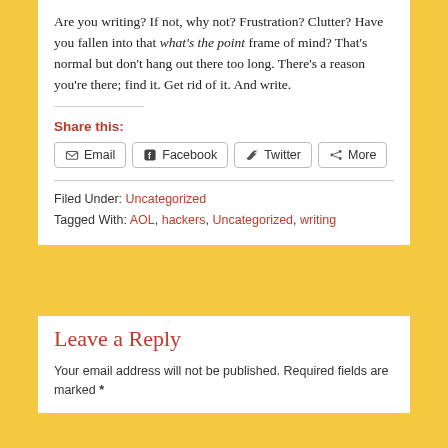Are you writing? If not, why not? Frustration? Clutter? Have you fallen into that what's the point frame of mind? That's normal but don't hang out there too long. There's a reason you're there; find it. Get rid of it. And write.
Share this:
Email | Facebook | Twitter | More
Filed Under: Uncategorized
Tagged With: AOL, hackers, Uncategorized, writing
Leave a Reply
Your email address will not be published. Required fields are marked *